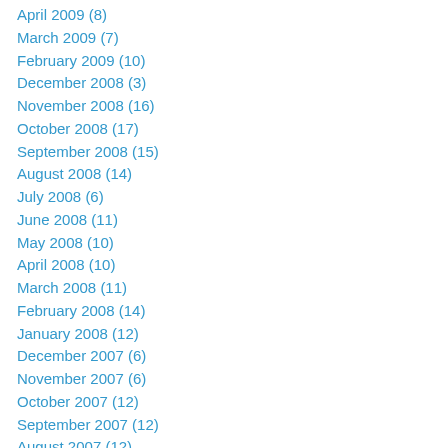April 2009 (8)
March 2009 (7)
February 2009 (10)
December 2008 (3)
November 2008 (16)
October 2008 (17)
September 2008 (15)
August 2008 (14)
July 2008 (6)
June 2008 (11)
May 2008 (10)
April 2008 (10)
March 2008 (11)
February 2008 (14)
January 2008 (12)
December 2007 (6)
November 2007 (6)
October 2007 (12)
September 2007 (12)
August 2007 (12)